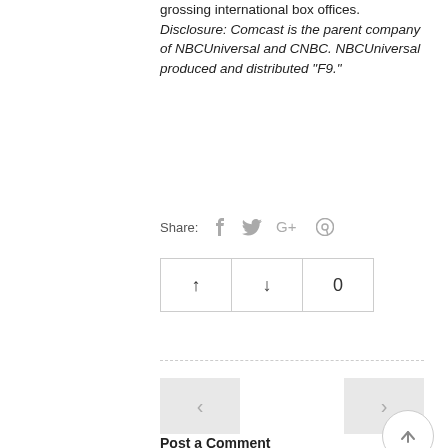grossing international box offices. Disclosure: Comcast is the parent company of NBCUniversal and CNBC. NBCUniversal produced and distributed "F9."
Share:
[Figure (infographic): Social share icons: Facebook, Twitter, Google+, Pinterest]
[Figure (infographic): Vote buttons: up arrow, down arrow, and count 0]
Post a Comment